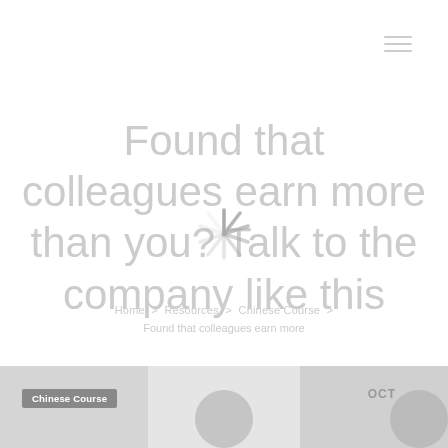[Figure (other): Hamburger menu icon (three horizontal lines) in top right corner]
Found that colleagues earn more than you? Talk to the company like this
[Figure (other): Loading spinner overlay in center of page]
Home > Resources > Chinese Course > Found that colleagues earn more
[Figure (other): Bottom strip of three image panels with Chinese Course badge and OCT label]